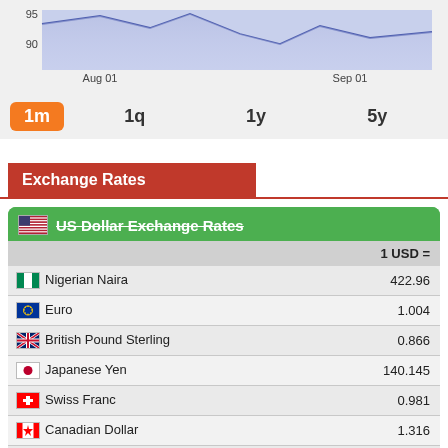[Figure (line-chart): Partial line chart showing data between Aug 01 and Sep 01, y-axis values around 90-95, with light blue area fill under the line curve.]
1m  1q  1y  5y
Exchange Rates
| Currency | 1 USD = |
| --- | --- |
| Nigerian Naira | 422.96 |
| Euro | 1.004 |
| British Pound Sterling | 0.866 |
| Japanese Yen | 140.145 |
| Swiss Franc | 0.981 |
| Canadian Dollar | 1.316 |
| Australian Dollar | 1.473 |
| Chinese Yuan Renminbi | 6.902 |
| South African Rand | 17.297 |
| Russian Ruble | 60.21 |
| Brazilian Real | 5.242 |